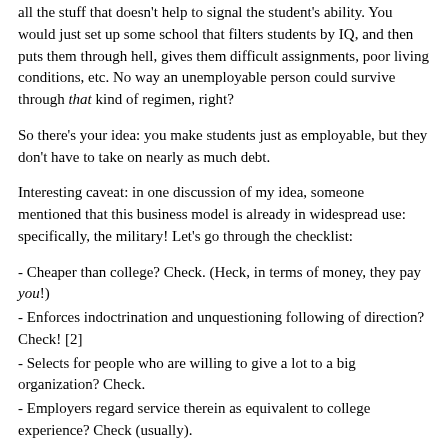all the stuff that doesn't help to signal the student's ability. You would just set up some school that filters students by IQ, and then puts them through hell, gives them difficult assignments, poor living conditions, etc. No way an unemployable person could survive through that kind of regimen, right?
So there's your idea: you make students just as employable, but they don't have to take on nearly as much debt.
Interesting caveat: in one discussion of my idea, someone mentioned that this business model is already in widespread use: specifically, the military! Let's go through the checklist:
- Cheaper than college? Check. (Heck, in terms of money, they pay you!)
- Enforces indoctrination and unquestioning following of direction? Check! [2]
- Selects for people who are willing to give a lot to a big organization? Check.
- Employers regard service therein as equivalent to college experience? Check (usually).
- Gives experience doing boring tasks because you were told